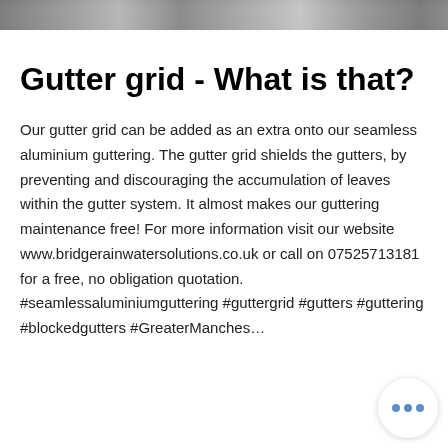[Figure (photo): Partial photo strip visible at the top of the page]
Gutter grid - What is that?
Our gutter grid can be added as an extra onto our seamless aluminium guttering. The gutter grid shields the gutters, by preventing and discouraging the accumulation of leaves within the gutter system. It almost makes our guttering maintenance free! For more information visit our website www.bridgerainwatersolutions.co.uk or call on 07525713181 for a free, no obligation quotation. #seamlessaluminiumguttering #guttergrid #gutters #guttering #blockedgutters #GreaterManches…